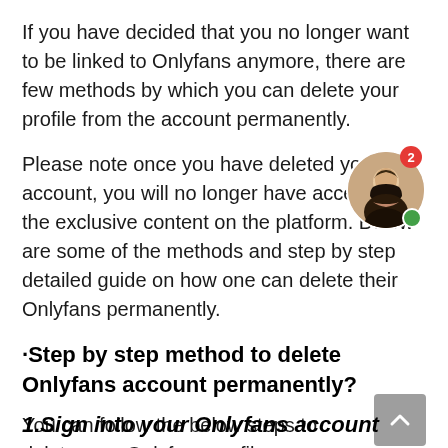If you have decided that you no longer want to be linked to Onlyfans anymore, there are few methods by which you can delete your profile from the account permanently.
[Figure (photo): Circular avatar photo of a woman with blonde hair, with a red notification badge showing '2' and a green online status dot]
Please note once you have deleted your account, you will no longer have access to the exclusive content on the platform. Below are some of the methods and step by step detailed guide on how one can delete their Onlyfans permanently.
·Step by step method to delete Onlyfans account permanently?
You can follow the below steps to delete your Onlyfans profile permanently-
[Figure (other): Gray scroll-to-top button with chevron/arrow icon]
1.Sign into your Onlyfans account